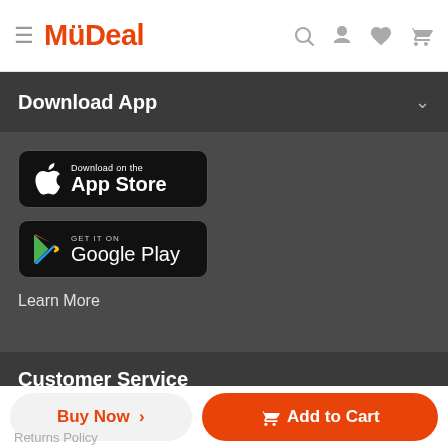MyDeal
Download App
[Figure (screenshot): Download on the App Store button (black rounded rectangle with Apple logo)]
[Figure (screenshot): GET IT ON Google Play button (black rounded rectangle with Google Play logo)]
Learn More
Customer Service
Need Help? Contact us
Buy Now >
Add to Cart
Returns Policy